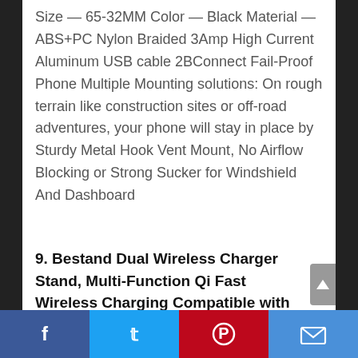Size — 65-32MM Color — Black Material — ABS+PC Nylon Braided 3Amp High Current Aluminum USB cable 2BConnect Fail-Proof Phone Multiple Mounting solutions: On rough terrain like construction sites or off-road adventures, your phone will stay in place by Sturdy Metal Hook Vent Mount, No Airflow Blocking or Strong Sucker for Windshield And Dashboard
9. Bestand Dual Wireless Charger Stand, Multi-Function Qi Fast Wireless Charging Compatible with iPhone X/Xs/Xs Max/XR/8 Plus/8/Samsung Galaxy S10/S9/S9+ (H08 Silver)
f  t  P  mail